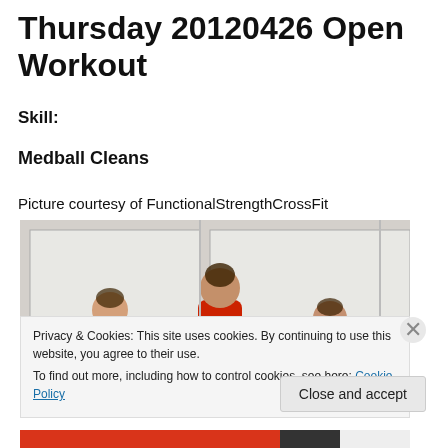Thursday 20120426 Open Workout
Skill:
Medball Cleans
Picture courtesy of FunctionalStrengthCrossFit
[Figure (photo): Three people in red shirts performing medball cleans in a gym with whiteboards in the background.]
Privacy & Cookies: This site uses cookies. By continuing to use this website, you agree to their use.
To find out more, including how to control cookies, see here: Cookie Policy